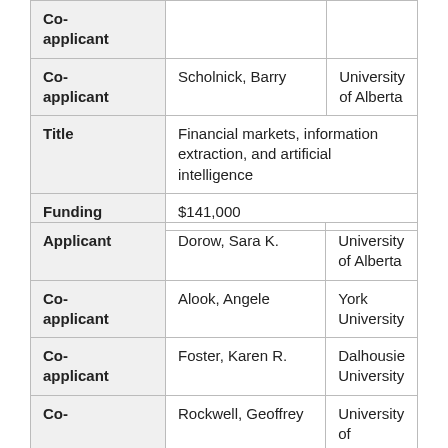| Role | Name | Institution |
| --- | --- | --- |
| Co-applicant |  |  |
| Co-applicant | Scholnick, Barry | University of Alberta |
| Title | Financial markets, information extraction, and artificial intelligence |  |
| Funding | $141,000 |  |
| Role | Name | Institution |
| --- | --- | --- |
| Applicant | Dorow, Sara K. | University of Alberta |
| Co-applicant | Alook, Angele | York University |
| Co-applicant | Foster, Karen R. | Dalhousie University |
| Co-applicant | Rockwell, Geoffrey | University of ... |